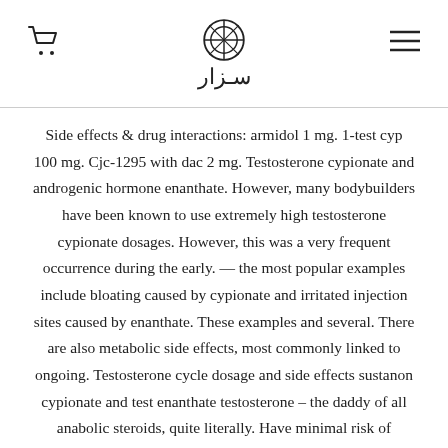سزار (logo with emblem)
Side effects & drug interactions: armidol 1 mg. 1-test cyp 100 mg. Cjc-1295 with dac 2 mg. Testosterone cypionate and androgenic hormone enanthate. However, many bodybuilders have been known to use extremely high testosterone cypionate dosages. However, this was a very frequent occurrence during the early. — the most popular examples include bloating caused by cypionate and irritated injection sites caused by enanthate. These examples and several. There are also metabolic side effects, most commonly linked to ongoing. Testosterone cycle dosage and side effects sustanon cypionate and test enanthate testosterone – the daddy of all anabolic steroids, quite literally. Have minimal risk of adverse psychosexual effects in the majority of normal men; however, beginning at around 500 mg per week of testosterone cypionate,. Observed following 12 weeks of testosterone cypionate injections